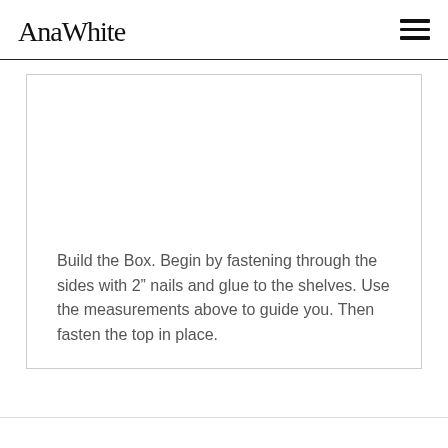AnaWhite
Build the Box. Begin by fastening through the sides with 2” nails and glue to the shelves. Use the measurements above to guide you. Then fasten the top in place.